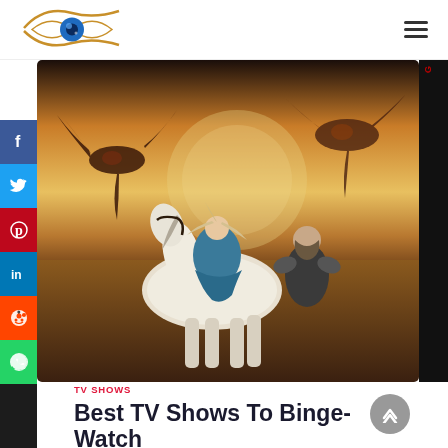[Figure (logo): Eye/lens logo with gold swoosh lines and blue iris, website logo]
[Figure (photo): Hero image showing a woman in blue dress riding a white horse with a man in armor beside her, dragons in background sky — Game of Thrones style promotional image]
[Figure (infographic): Social media share buttons sidebar: Facebook (blue), Twitter (light blue), Pinterest (red), LinkedIn (dark blue), Reddit (orange), WhatsApp (green)]
TV SHOWS
Best TV Shows To Binge-Watch